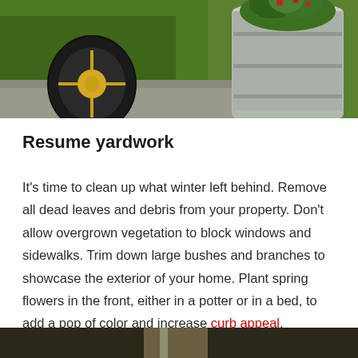[Figure (photo): Outdoor garden scene showing a tractor wheel on green grass and a galvanized metal bucket filled with green plants, on a stone/concrete surface.]
Resume yardwork
It's time to clean up what winter left behind. Remove all dead leaves and debris from your property. Don't allow overgrown vegetation to block windows and sidewalks. Trim down large bushes and branches to showcase the exterior of your home. Plant spring flowers in the front, either in a potter or in a bed, to add a pop of color and increase curb appeal.
[Figure (photo): Partial view of another outdoor/garden photo at the bottom of the page.]